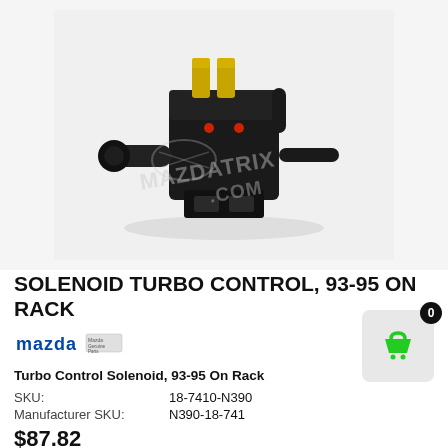[Figure (photo): Black solenoid turbo control valve with gold electrical connectors on top and hose barb fittings on sides, photographed on white/light gray background with MAZDATRIX.COM watermark]
SOLENOID TURBO CONTROL, 93-95 ON RACK
[Figure (logo): Mazda Genuine Parts logo — blue MAZDA wordmark with genuine parts badge]
Turbo Control Solenoid, 93-95 On Rack
SKU: 18-7410-N390
Manufacturer SKU: N390-18-741
$87.82